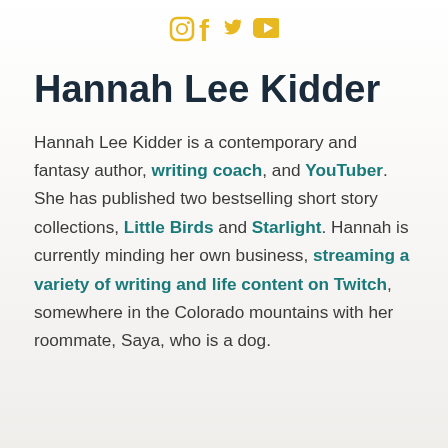[Social media icons: Instagram, Facebook, Twitter, YouTube]
Hannah Lee Kidder
Hannah Lee Kidder is a contemporary and fantasy author, writing coach, and YouTuber. She has published two bestselling short story collections, Little Birds and Starlight. Hannah is currently minding her own business, streaming a variety of writing and life content on Twitch, somewhere in the Colorado mountains with her roommate, Saya, who is a dog.